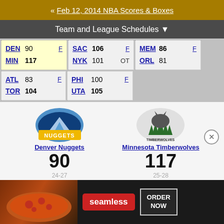« Feb 12, 2014 NBA Scores & Boxes
Team and League Schedules ▼
| DEN 90 F | MIN 117 |
| SAC 106 F | NYK 101 OT |
| MEM 86 F | ORL 81 |
| ATL 83 F | TOR 104 |
| PHI 100 F | UTA 105 |
[Figure (logo): Denver Nuggets logo]
[Figure (logo): Minnesota Timberwolves logo]
Denver Nuggets 90
Minnesota Timberwolves 117
24-27
25-28
[Figure (photo): Seamless food ordering advertisement banner with pizza image, seamless logo, and ORDER NOW button]